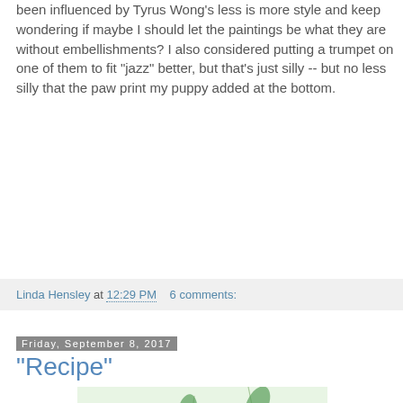been influenced by Tyrus Wong's less is more style and keep wondering if maybe I should let the paintings be what they are without embellishments?  I also considered putting a trumpet on one of them to fit "jazz" better, but that's just silly -- but no less silly that the paw print my puppy added at the bottom.
Linda Hensley at 12:29 PM    6 comments:
Friday, September 8, 2017
"Recipe"
[Figure (illustration): Watercolor illustration of green herbs and leaves on a light green background]